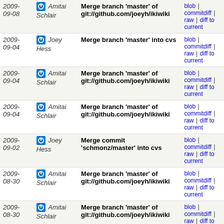| Date | Author | Commit | Links |
| --- | --- | --- | --- |
| 2009-09-08 | Amitai Schlair | Merge branch 'master' of git://github.com/joeyh/ikiwiki | blob | commitdiff | raw | diff to current |
| 2009-09-04 | Joey Hess | Merge branch 'master' into cvs | blob | commitdiff | raw | diff to current |
| 2009-09-04 | Amitai Schlair | Merge branch 'master' of git://github.com/joeyh/ikiwiki | blob | commitdiff | raw | diff to current |
| 2009-09-04 | Amitai Schlair | Merge branch 'master' of git://github.com/joeyh/ikiwiki | blob | commitdiff | raw | diff to current |
| 2009-09-02 | Joey Hess | Merge commit 'schmonz/master' into cvs | blob | commitdiff | raw | diff to current |
| 2009-08-30 | Amitai Schlair | Merge branch 'master' of git://github.com/joeyh/ikiwiki | blob | commitdiff | raw | diff to current |
| 2009-08-30 | Amitai Schlair | Merge branch 'master' of git://github.com/joeyh/ikiwiki | blob | commitdiff | raw | diff to current |
| 2009-08-22 | Amitai Schlair | No more wrapper wrapper. | blob | commitdiff | raw | diff to current |
| 2009-08-13 | Amitai Schlair | Add my CVS plugin and related patches. | blob | commitdiff | raw | diff to current |
| 2009-05-19 | Joey Hess | Merge branch 'master' into po | blob | commitdiff | raw | diff to current |
| 2009-05-19 | Joey Hess | Merge commit 'intrigeri/po' into po | blob | commitdiff |